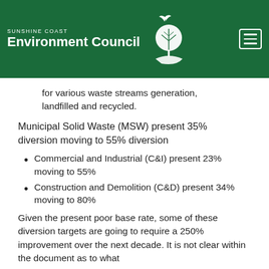SUNSHINE COAST Environment Council
for various waste streams generation, landfilled and recycled.
Municipal Solid Waste (MSW) present 35% diversion moving to 55% diversion
Commercial and Industrial (C&I) present 23% moving to 55%
Construction and Demolition (C&D) present 34% moving to 80%
Given the present poor base rate, some of these diversion targets are going to require a 250% improvement over the next decade. It is not clear within the document as to what